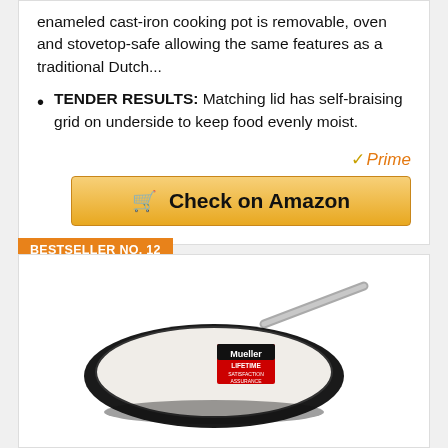enameled cast-iron cooking pot is removable, oven and stovetop-safe allowing the same features as a traditional Dutch...
TENDER RESULTS: Matching lid has self-braising grid on underside to keep food evenly moist.
[Figure (other): Amazon Prime logo and Check on Amazon button]
BESTSELLER NO. 12
[Figure (photo): Mueller brand frying pan — black exterior, white ceramic interior, silver handle, with Mueller Lifetime Satisfaction Assurance label]